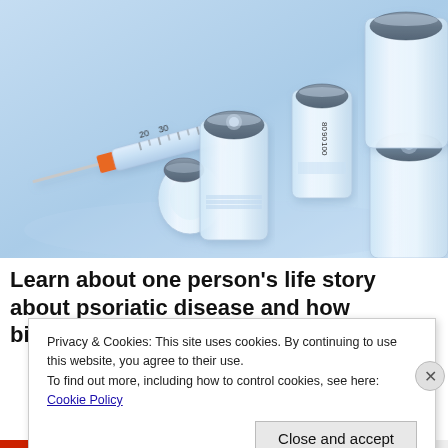[Figure (photo): Medical vials and syringe on a light blue background. Several glass injection vials with grey rubber stoppers and an orange-capped syringe with measurement markings (20, 30, 80, 90, 100) are arranged on a pale blue reflective surface.]
Learn about one person's life story about psoriatic disease and how biologics changed h...
Privacy & Cookies: This site uses cookies. By continuing to use this website, you agree to their use.
To find out more, including how to control cookies, see here: Cookie Policy
Close and accept